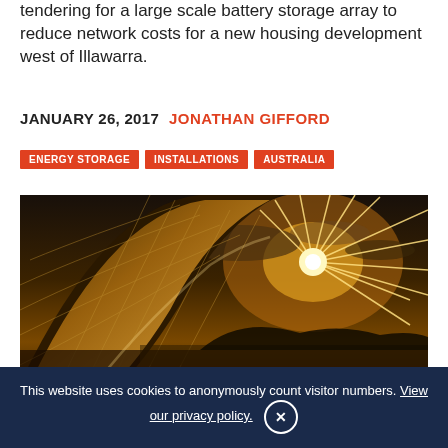tendering for a large scale battery storage array to reduce network costs for a new housing development west of Illawarra.
JANUARY 26, 2017  JONATHAN GIFFORD
ENERGY STORAGE
INSTALLATIONS
AUSTRALIA
[Figure (photo): Close-up of solar panels with sunburst and dramatic sky in background]
This website uses cookies to anonymously count visitor numbers. View our privacy policy.